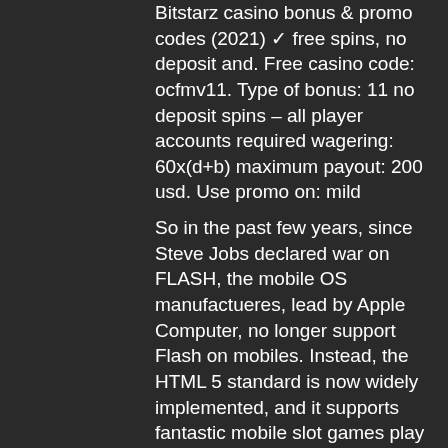Bitstarz casino bonus &amp; promo codes (2021) ✓ free spins, no deposit and. Free casino code: ocfmv11. Type of bonus: 11 no deposit spins – all player accounts required wagering: 60x(d+b) maximum payout: 200 usd. Use promo on: mild
So in the past few years, since Steve Jobs declared war on FLASH, the mobile OS manufactueres, lead by Apple Computer, no longer support Flash on mobiles. Instead, the HTML 5 standard is now widely implemented, and it supports fantastic mobile slot games play on all mobile devices, and does not wipe out your battery on your cell phone or tablet in an hour. How To Play At Online Casino, cryptoslots casino no deposit bonus codes 2022.
BTC casino winners:
Book of the Ages - 59.8 eth
Wild Wild Chest - 18.2 ltc
Ancient Riches Casino - 450.5 dog